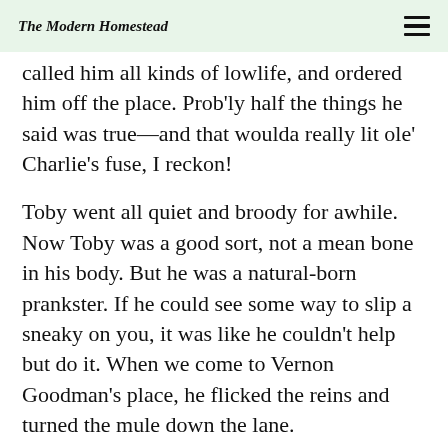The Modern Homestead
called him all kinds of lowlife, and ordered him off the place. Prob'ly half the things he said was true—and that woulda really lit ole' Charlie's fuse, I reckon!
Toby went all quiet and broody for awhile. Now Toby was a good sort, not a mean bone in his body. But he was a natural-born prankster. If he could see some way to slip a sneaky on you, it was like he couldn't help but do it. When we come to Vernon Goodman's place, he flicked the reins and turned the mule down the lane.
“Where you goin’?” Charlie wanted to kno—but Toby just smiled a wait ‘n’ see smile